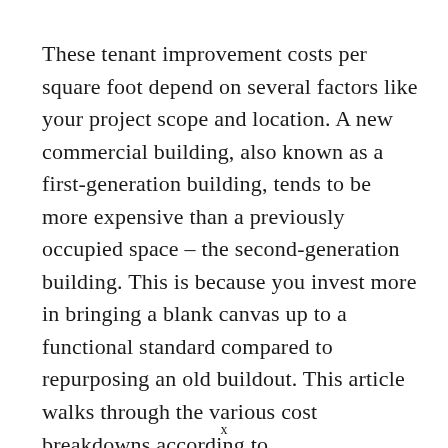These tenant improvement costs per square foot depend on several factors like your project scope and location. A new commercial building, also known as a first-generation building, tends to be more expensive than a previously occupied space – the second-generation building. This is because you invest more in bringing a blank canvas up to a functional standard compared to repurposing an old buildout. This article walks through the various cost breakdowns according to
x